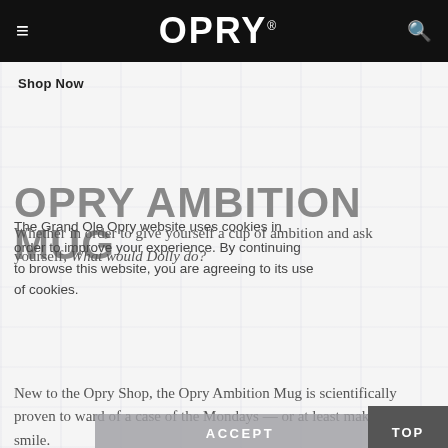≡  OPRY.  🔍
Shop Now
OPRY AMBITION MUG
The Grand Ole Opry website uses cookies in order to improve your experience. By continuing to browse this website, you are agreeing to its use of cookies.
Whether in order to give yourself a cup of ambition and ask yourself, What would Dolly do?
New to the Opry Shop, the Opry Ambition Mug is scientifically proven to ward off a case of the Mondays — or at least make you smile.
ACCEPT
TOP